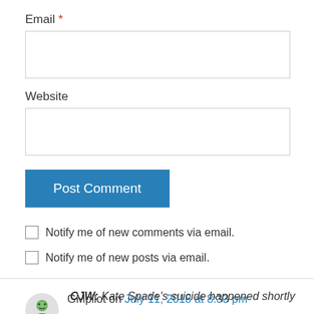Email *
[Figure (other): Empty email input text field]
Website
[Figure (other): Empty website input text field]
Post Comment (button)
Notify me of new comments via email.
Notify me of new posts via email.
GMpilot on July 11, 2018 at 8:33 pm
CJW: Kate Spade's suicide happened shortly